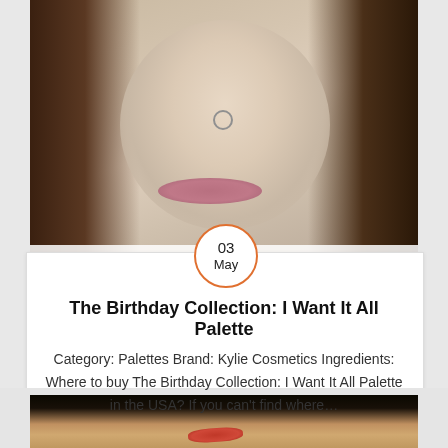[Figure (photo): Close-up photo of a person's lower face showing nose with nose ring and lips, with hair on both sides, on a muted background.]
03
May
The Birthday Collection: I Want It All Palette
Category: Palettes Brand: Kylie Cosmetics Ingredients: Where to buy The Birthday Collection: I Want It All Palette in the USA? If you can't find where...
[Figure (photo): Close-up photo of skin with a mark or scratch visible, dark background at top.]